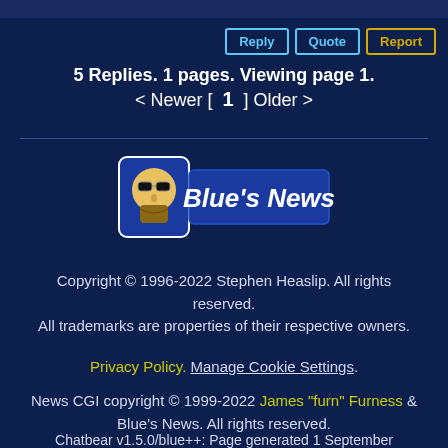Reply  Quote  Report
5 Replies. 1 pages. Viewing page 1.
< Newer [ 1 ] Older >
[Figure (logo): Blue's News logo — white and blue shield with cartoon face and bold text "Blue's News"]
Copyright © 1996-2022 Stephen Heaslip. All rights reserved.
All trademarks are properties of their respective owners.
Privacy Policy. Manage Cookie Settings.
News CGI copyright © 1999-2022 James "furn" Furness & Blue's News. All rights reserved.
Chatbear v1.5.0/blue++: Page generated 1 September 2022, 00:08.